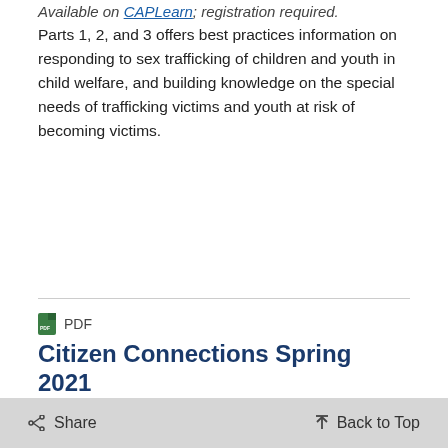Available on CAPLearn; registration required. Parts 1, 2, and 3 offers best practices information on responding to sex trafficking of children and youth in child welfare, and building knowledge on the special needs of trafficking victims and youth at risk of becoming victims.
PDF
Citizen Connections Spring 2021
Here you will find interviews with Toni Lawal, Tennessee's Citizen Review Panel (CRP) Coordinator, and Stuart Oppenheim, Executive Director of the Child and Family Policy Institute of California; an update on the Pennsylvania CRP; and Office on Child Abuse and Neglect (OCAN) and Bureau (CB) updates.
Share   Back to Top